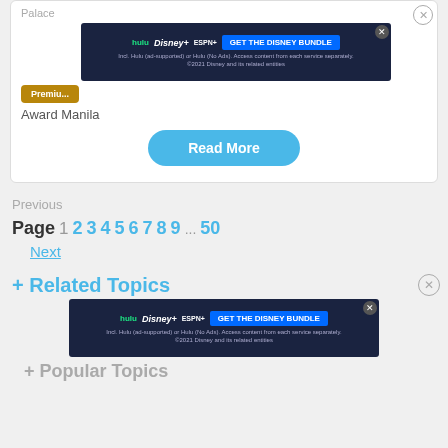Palace
[Figure (screenshot): Disney Bundle advertisement banner: hulu, Disney+, ESPN+, GET THE DISNEY BUNDLE button. Incl. Hulu (ad-supported) or Hulu (No Ads). Access content from each service separately. ©2021 Disney and its related entities]
Premium
Award Manila
Read More
Previous
Page 1 2 3 4 5 6 7 8 9 ... 50
Next
+ Related Topics
[Figure (screenshot): Disney Bundle advertisement banner: hulu, Disney+, ESPN+, GET THE DISNEY BUNDLE button. Incl. Hulu (ad-supported) or Hulu (No Ads). Access content from each service separately. ©2021 Disney and its related entities]
+ Popular Topics